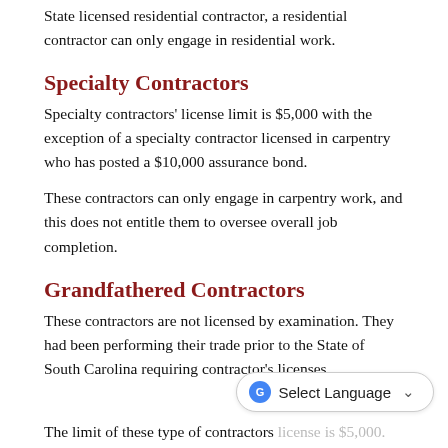State licensed residential contractor, a residential contractor can only engage in residential work.
Specialty Contractors
Specialty contractors' license limit is $5,000 with the exception of a specialty contractor licensed in carpentry who has posted a $10,000 assurance bond.
These contractors can only engage in carpentry work, and this does not entitle them to oversee overall job completion.
Grandfathered Contractors
These contractors are not licensed by examination. They had been performing their trade prior to the State of South Carolina requiring contractor's licenses.
The limit of these type of contractors license is $5,000.